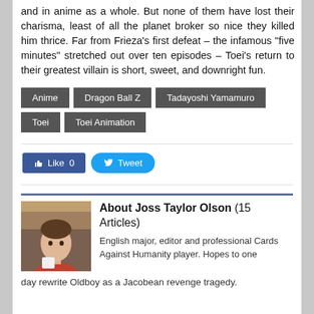and in anime as a whole. But none of them have lost their charisma, least of all the planet broker so nice they killed him thrice. Far from Frieza’s first defeat – the infamous “five minutes” stretched out over ten episodes – Toei’s return to their greatest villain is short, sweet, and downright fun.
Anime
Dragon Ball Z
Tadayoshi Yamamuro
Toei
Toei Animation
[Figure (infographic): Social share buttons: blue Like 0 button and blue rounded Tweet button]
[Figure (photo): Portrait photo of Joss Taylor Olson, a young man in a red shirt]
About Joss Taylor Olson (15 Articles)
English major, editor and professional Cards Against Humanity player. Hopes to one day rewrite Oldboy as a Jacobean revenge tragedy.